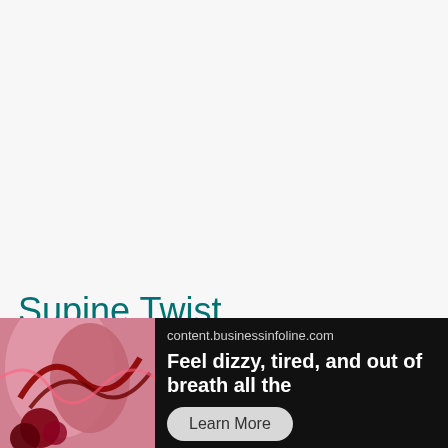[Figure (photo): Light gray background area representing image placeholder at top of page]
Supine Twist
The supine twist is similar except that it involves both the knees close to stomach while lying on the back, with both arms
[Figure (photo): Advertisement banner with medical illustration of blood vessels/arteries on black background. URL: content.businessinfoline.com. Headline: Feel dizzy, tired, and out of breath all the. Button: Learn More]